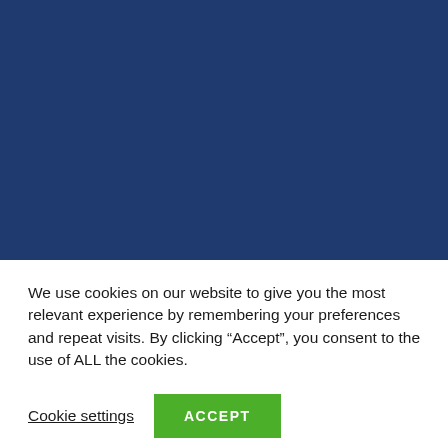[Figure (other): Dark navy blue banner/background image covering the top portion of the page]
We use cookies on our website to give you the most relevant experience by remembering your preferences and repeat visits. By clicking “Accept”, you consent to the use of ALL the cookies.
Cookie settings
ACCEPT